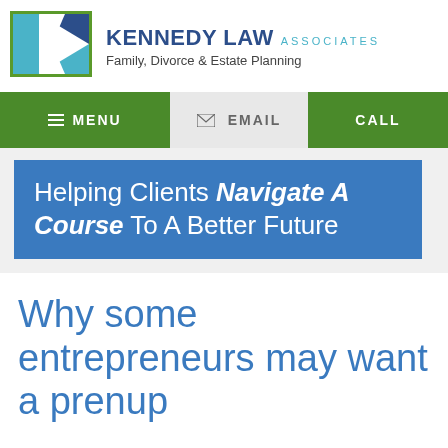KENNEDY LAW ASSOCIATES — Family, Divorce & Estate Planning
[Figure (logo): Kennedy Law Associates logo: teal and blue geometric K shape]
≡ MENU   ✉ EMAIL   CALL
Helping Clients Navigate A Course To A Better Future
Why some entrepreneurs may want a prenup